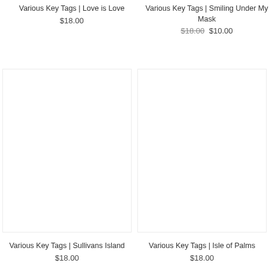Various Key Tags | Love is Love
$18.00
Various Key Tags | Smiling Under My Mask
$18.00  $10.00
Various Key Tags | Sullivans Island
$18.00
Various Key Tags | Isle of Palms
$18.00